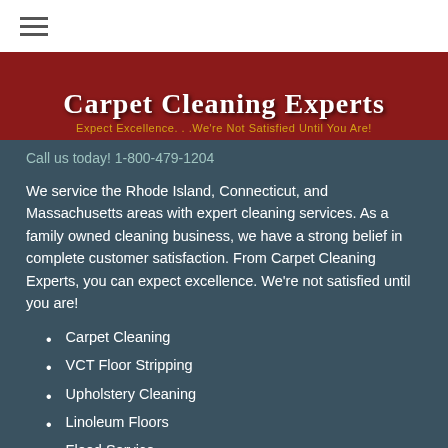[Figure (logo): Carpet Cleaning Experts banner with dark red background, white bold title text and gold subtitle: Expect Excellence. . .We're Not Satisfied Until You Are!]
Call us today! 1-800-479-1204
We service the Rhode Island, Connecticut, and Massachusetts areas with expert cleaning services. As a family owned cleaning business, we have a strong belief in complete customer satisfaction. From Carpet Cleaning Experts, you can expect excellence. We're not satisfied until you are!
Carpet Cleaning
VCT Floor Stripping
Upholstery Cleaning
Linoleum Floors
Flood Service